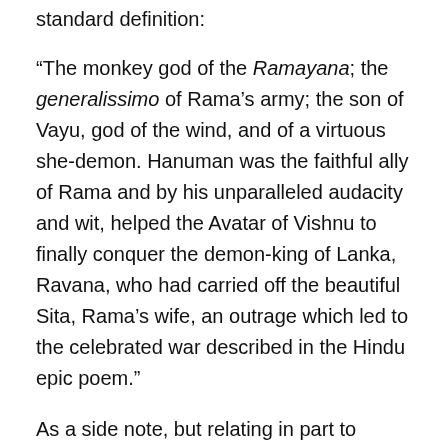standard definition:
“The monkey god of the Ramayana; the generalissimo of Rama’s army; the son of Vayu, god of the wind, and of a virtuous she-demon. Hanuman was the faithful ally of Rama and by his unparalleled audacity and wit, helped the Avatar of Vishnu to finally conquer the demon-king of Lanka, Ravana, who had carried off the beautiful Sita, Rama’s wife, an outrage which led to the celebrated war described in the Hindu epic poem.”
As a side note, but relating in part to Hanuman, HPB says in an article (Editor’s Note to “Zoroastrianism”):
“Magnetic emanations are constantly radiating from every human being. Their influence is present in the person’s shadow, in his photo or picture as well as everything else with which his aura comes into contact. It is interesting in